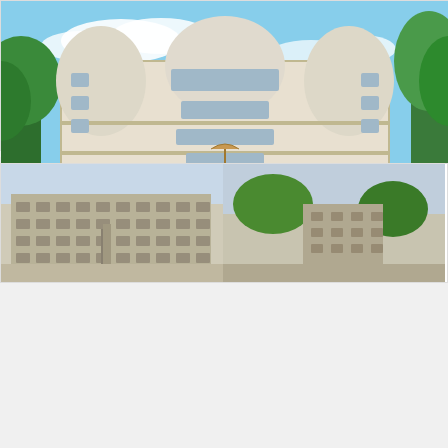[Figure (photo): Luxury mansion with pool, curved staircases, multiple balconies and columns, blue sky background with trees]
$3,395,000
MLS #:PAMC2036112
Address: 3400 PAPER MILL RD HUNTINGDON VALLEY, PA 19006
Listing Courtesy of RE/MAX Elite
[Figure (logo): RE/MAX logo in blue and red]
[Figure (photo): Partial view of two property listing photos at bottom of page, left showing apartment building, right showing another property. Green active status dot visible.]